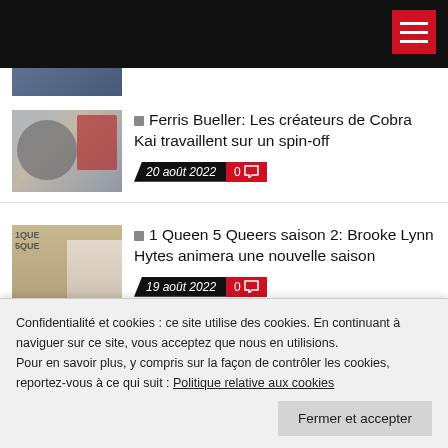Navigation header with hamburger menu
[Figure (photo): Partial article thumbnail at top]
[Figure (photo): Ferris Bueller movie still - three young actors]
Ferris Bueller: Les créateurs de Cobra Kai travaillent sur un spin-off
20 août 2022  0
[Figure (photo): 1 Queen 5 Queers promotional image - woman in white dress]
1 Queen 5 Queers saison 2: Brooke Lynn Hytes animera une nouvelle saison
19 août 2022  0
[Figure (photo): Monarch FOX show promotional image]
Monarch: FOX dévoile sa nouvelle
Confidentialité et cookies : ce site utilise des cookies. En continuant à naviguer sur ce site, vous acceptez que nous en utilisions.
Pour en savoir plus, y compris sur la façon de contrôler les cookies, reportez-vous à ce qui suit : Politique relative aux cookies
Fermer et accepter